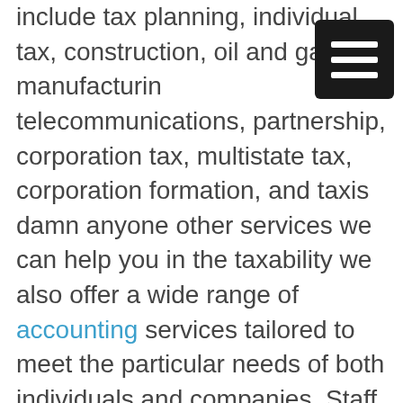[Figure (other): Hamburger menu icon — black square with three white horizontal bars]
include tax planning, individual tax, construction, oil and gas, manufacturing, telecommunications, partnership, corporation tax, multistate tax, corporation formation, and taxis damn anyone other services we can help you in the taxability we also offer a wide range of accounting services tailored to meet the particular needs of both individuals and companies. Staff researches new software in Tulsa CPA providing you with the state-of-the-art technology every day and those services included development of accounting systems, recordkeeping, payroll journals, financial statements, sales journals, checkwriting billing, cash receipt journals, preparation of payroll